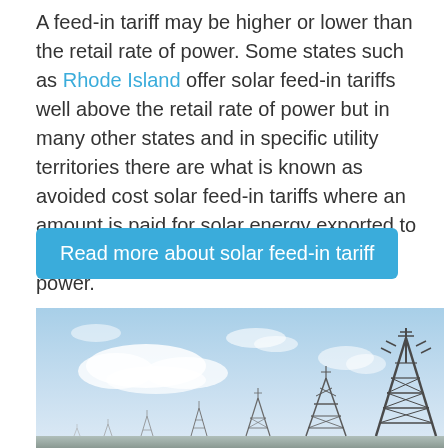A feed-in tariff may be higher or lower than the retail rate of power. Some states such as Rhode Island offer solar feed-in tariffs well above the retail rate of power but in many other states and in specific utility territories there are what is known as avoided cost solar feed-in tariffs where an amount is paid for solar energy exported to the grid that is less than the retail rate of power.
Read more about solar feed-in tariff
[Figure (photo): Photograph of multiple electrical transmission towers (pylons) against a partly cloudy blue sky, with a large prominent tower on the right and smaller towers receding into the distance on the left.]